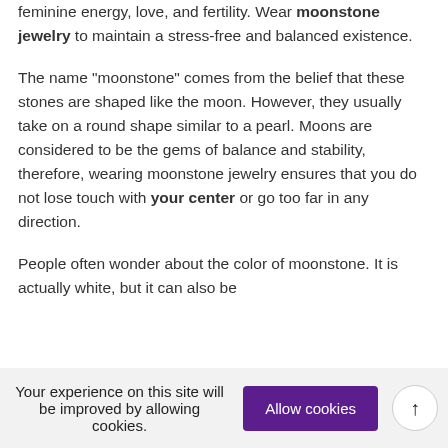feminine energy, love, and fertility. Wear moonstone jewelry to maintain a stress-free and balanced existence.
The name "moonstone" comes from the belief that these stones are shaped like the moon. However, they usually take on a round shape similar to a pearl. Moons are considered to be the gems of balance and stability, therefore, wearing moonstone jewelry ensures that you do not lose touch with your center or go too far in any direction.
People often wonder about the color of moonstone. It is actually white, but it can also be
Your experience on this site will be improved by allowing cookies.